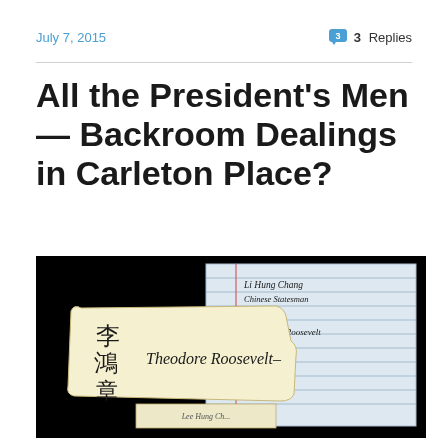July 7, 2015  |  3 Replies
All the President's Men — Backroom Dealings in Carleton Place?
[Figure (photo): Historical autograph collection showing Chinese characters (Li Hung Chang) on a torn card with Theodore Roosevelt signature, alongside a lined notebook page with handwritten inscriptions identifying Li Hung Chang as Chinese Statesman and signed by Pres. Th. Roosevelt]